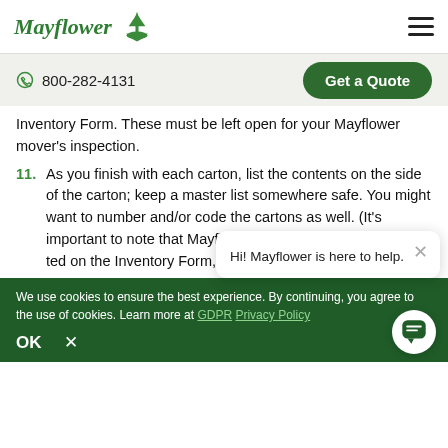Mayflower [logo] | hamburger menu
800-282-4131  |  Get a Quote
Inventory Form. These must be left open for your Mayflower mover’s inspection.
11. As you finish with each carton, list the contents on the side of the carton; keep a master list somewhere safe. You might want to number and/or code the cartons as well. (It’s important to note that Mayflower will not accept a claim if an item isn’t listed on the Inventory Form, regardless of whether it’s in your box.)
Hi! Mayflower is here to help.
We use cookies to ensure the best experience. By continuing, you agree to the use of cookies. Learn more at GDPR Privacy Policy  |  OK  |  ×